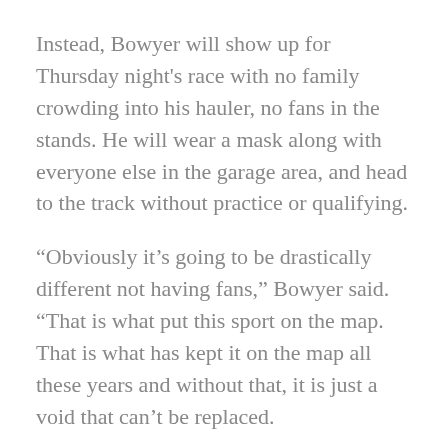Instead, Bowyer will show up for Thursday night's race with no family crowding into his hauler, no fans in the stands. He will wear a mask along with everyone else in the garage area, and head to the track without practice or qualifying.
“Obviously it’s going to be drastically different not having fans,” Bowyer said. “That is what put this sport on the map. That is what has kept it on the map all these years and without that, it is just a void that can’t be replaced.
“Are we putting a product on the track? Yes. Are there people at home watching? Yes, the ratings show that and these are the things keeping us relevant,” he continued. “I think the rest of the world is fixing to see first-hand just like we experience in the last few months and the difference and challenges and impact of not having that fan presence there. It isn’t just the